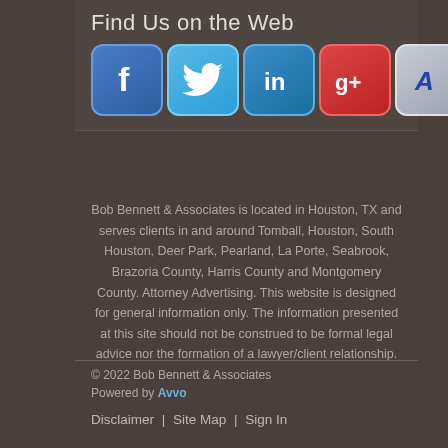Find Us on the Web
[Figure (illustration): Five social media/directory icons: Facebook (blue), Twitter (light blue), LinkedIn (blue), Google+ (red), Avvo (gray/silver)]
Bob Bennett & Associates is located in Houston, TX and serves clients in and around Tomball, Houston, South Houston, Deer Park, Pearland, La Porte, Seabrook, Brazoria County, Harris County and Montgomery County. Attorney Advertising. This website is designed for general information only. The information presented at this site should not be construed to be formal legal advice nor the formation of a lawyer/client relationship.
© 2022 Bob Bennett & Associates
Powered by Avvo
Disclaimer | Site Map | Sign In